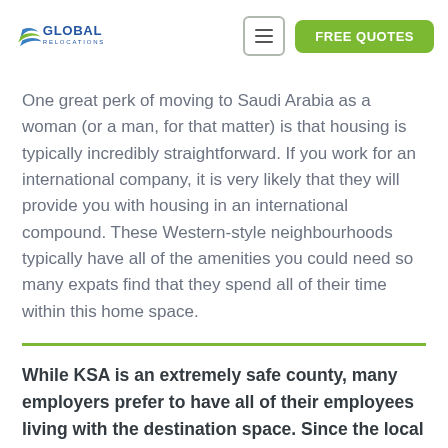GLOBAL RELOCATIONS | FREE QUOTES
One great perk of moving to Saudi Arabia as a woman (or a man, for that matter) is that housing is typically incredibly straightforward. If you work for an international company, it is very likely that they will provide you with housing in an international compound. These Western-style neighbourhoods typically have all of the amenities you could need so many expats find that they spend all of their time within this home space.
While KSA is an extremely safe county, many employers prefer to have all of their employees living with the destination space. Since the local culture is so fundamentally different and restrictive, companies are nervous to risk employees breaking the rules in the